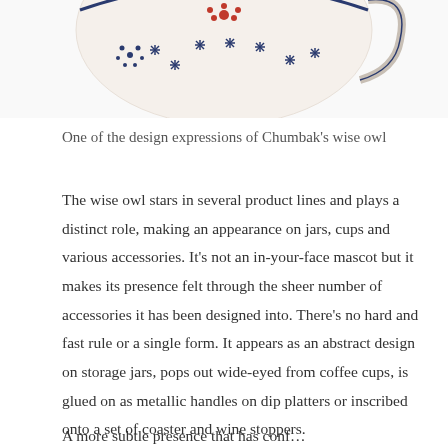[Figure (photo): Partial view of a decorative ceramic bowl or jar from Chumbak, white with blue and red floral and geometric patterns, cut off at top of image.]
One of the design expressions of Chumbak’s wise owl
The wise owl stars in several product lines and plays a distinct role, making an appearance on jars, cups and various accessories. It’s not an in-your-face mascot but it makes its presence felt through the sheer number of accessories it has been designed into. There’s no hard and fast rule or a single form. It appears as an abstract design on storage jars, pops out wide-eyed from coffee cups, is glued on as metallic handles on dip platters or inscribed onto a set of coaster and wine stoppers.
A more subtle presence that has conf…